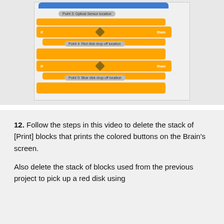[Figure (screenshot): Block programming diagram showing orange conditional blocks with labels: 'Point 3: Optical Sensor location', 'if ... then' block, 'Point 4: Red disk drop off location', another 'if ... then' block, 'Point 5: Blue disk drop off location', and a trailing orange block at the bottom.]
12. Follow the steps in this video to delete the stack of [Print] blocks that prints the colored buttons on the Brain's screen.
Also delete the stack of blocks used from the previous project to pick up a red disk using